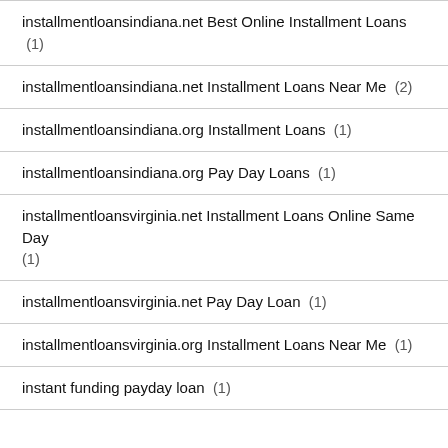installmentloansindiana.net Best Online Installment Loans (1)
installmentloansindiana.net Installment Loans Near Me (2)
installmentloansindiana.org Installment Loans (1)
installmentloansindiana.org Pay Day Loans (1)
installmentloansvirginia.net Installment Loans Online Same Day (1)
installmentloansvirginia.net Pay Day Loan (1)
installmentloansvirginia.org Installment Loans Near Me (1)
instant funding payday loan (1)